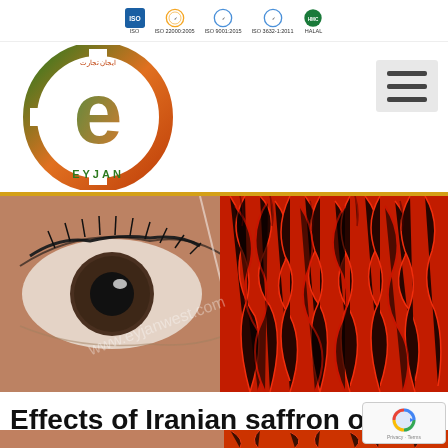ISO  ISO 22000:2005  ISO 9001:2015  ISO 3632-1:2011  HALAL
[Figure (logo): EYJAN company circular logo with green and orange gradient, featuring a large 'e' letter in the center, Persian text around the ring, and 'EYJAN' text at the bottom]
[Figure (photo): Split composite image: left half shows a close-up macro photograph of a human eye with detailed iris and eyelashes; right half shows a close-up photograph of red saffron threads/strands piled together. Watermark text 'www.eyjanwest.com' is visible diagonally across the image.]
Effects of Iranian saffron on e
[Figure (photo): Bottom strip of a photo showing reddish-orange content, partially visible]